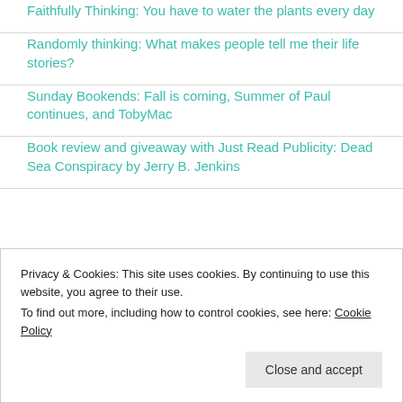Faithfully Thinking: You have to water the plants every day
Randomly thinking: What makes people tell me their life stories?
Sunday Bookends: Fall is coming, Summer of Paul continues, and TobyMac
Book review and giveaway with Just Read Publicity: Dead Sea Conspiracy by Jerry B. Jenkins
Privacy & Cookies: This site uses cookies. By continuing to use this website, you agree to their use.
To find out more, including how to control cookies, see here: Cookie Policy